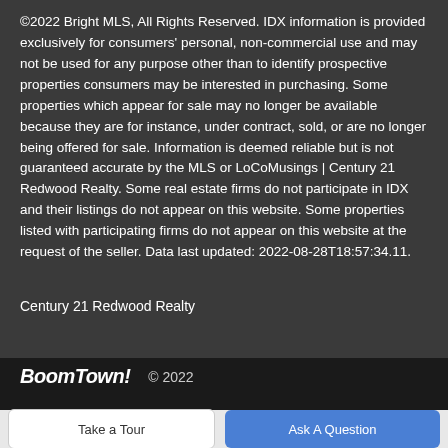©2022 Bright MLS, All Rights Reserved. IDX information is provided exclusively for consumers' personal, non-commercial use and may not be used for any purpose other than to identify prospective properties consumers may be interested in purchasing. Some properties which appear for sale may no longer be available because they are for instance, under contract, sold, or are no longer being offered for sale. Information is deemed reliable but is not guaranteed accurate by the MLS or LoCoMusings | Century 21 Redwood Realty. Some real estate firms do not participate in IDX and their listings do not appear on this website. Some properties listed with participating firms do not appear on this website at the request of the seller. Data last updated: 2022-08-28T18:57:34.11.
Century 21 Redwood Realty
BoomTown! © 2022
Take a Tour
Ask A Question